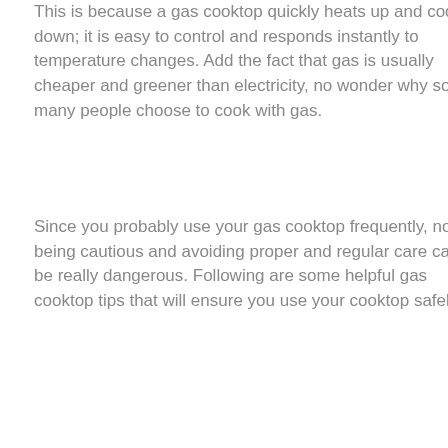This is because a gas cooktop quickly heats up and cools down; it is easy to control and responds instantly to temperature changes. Add the fact that gas is usually cheaper and greener than electricity, no wonder why so many people choose to cook with gas.
Since you probably use your gas cooktop frequently, not being cautious and avoiding proper and regular care can be really dangerous. Following are some helpful gas cooktop tips that will ensure you use your cooktop safely.